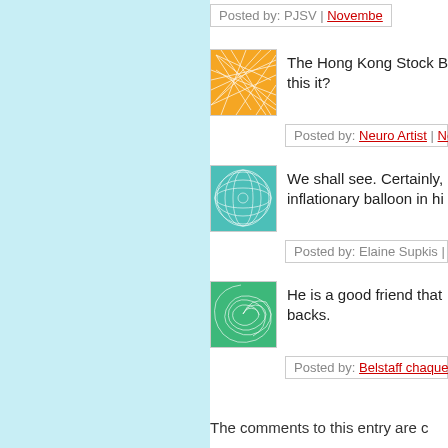Posted by: PJSV | November…
[Figure (illustration): Orange geometric network pattern avatar]
The Hong Kong Stock E… this it?
Posted by: Neuro Artist | Nov…
[Figure (illustration): Teal/green circular grid pattern avatar]
We shall see. Certainly, inflationary balloon in hi…
Posted by: Elaine Supkis | N…
[Figure (illustration): Green spiral pattern avatar]
He is a good friend that backs.
Posted by: Belstaff chaqueta…
The comments to this entry are c…